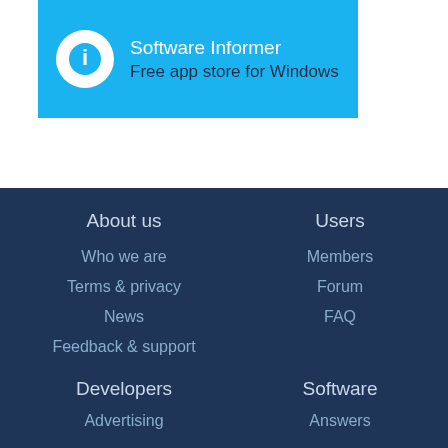[Figure (logo): Software Informer banner with blue background, circular white icon, title 'Software Informer' and subtitle 'Free app store for Windows']
About us
Who we are
Terms & privacy
News
Feedback & support
Users
Members
Forum
FAQ
Developers
Advertising
General information
Software
Answers
Top software